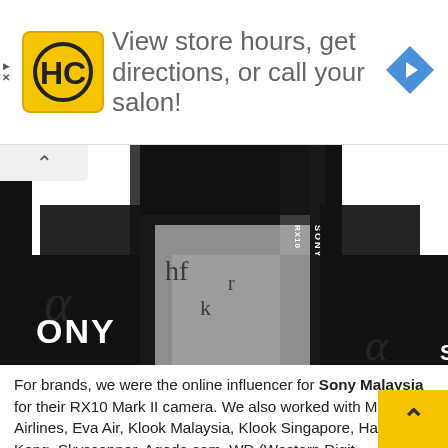[Figure (infographic): Advertisement banner with yellow HC (Haircuttery) logo, text: View store hours, get directions, or call your salon!, and a blue navigation arrow icon. Has play and close (X) icons on left.]
[Figure (photo): A person in a black blazer and white patterned shirt holds a Sony RX10 camera in front of a Sony branded checkered backdrop with Sony and alpha logos.]
For brands, we were the online influencer for Sony Malaysia for their RX10 Mark II camera. We also worked with Malaysia Airlines, Eva Air, Klook Malaysia, Klook Singapore, Har... Hong Kong, Skyscanner, Agoda.com, WD (Western Digital..., Malaysia, AirAsia, AirAsiaX, McDonald's Malaysia, Singapore Airlines, Samsung Malaysia, UTC Malaysia, and many more